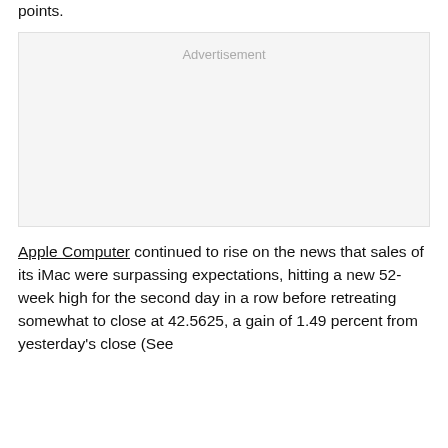points.
[Figure (other): Advertisement placeholder box with light gray background and 'Advertisement' label in gray text]
Apple Computer continued to rise on the news that sales of its iMac were surpassing expectations, hitting a new 52-week high for the second day in a row before retreating somewhat to close at 42.5625, a gain of 1.49 percent from yesterday's close (See